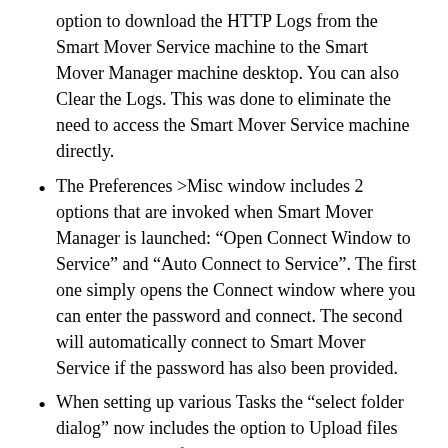option to download the HTTP Logs from the Smart Mover Service machine to the Smart Mover Manager machine desktop. You can also Clear the Logs. This was done to eliminate the need to access the Smart Mover Service machine directly.
The Preferences >Misc window includes 2 options that are invoked when Smart Mover Manager is launched: “Open Connect Window to Service” and “Auto Connect to Service”. The first one simply opens the Connect window where you can enter the password and connect. The second will automatically connect to Smart Mover Service if the password has also been provided.
When setting up various Tasks the “select folder dialog” now includes the option to Upload files into the selected folder. You can now also Delete files or folders. This was done to eliminate the need to access the Smart Mover Service machine directly. The upload option should be used for